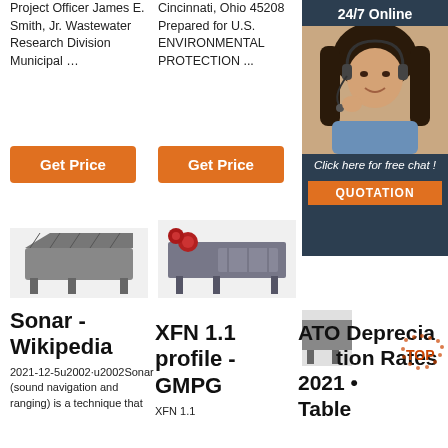Project Officer James E. Smith, Jr. Wastewater Research Division Municipal …
Cincinnati, Ohio 45208 Prepared for U.S. ENVIRONMENTAL PROTECTION ...
Get Price
Get Price
[Figure (photo): 24/7 Online ad with woman wearing headset, click here for free chat, Quotation button]
[Figure (photo): Industrial vibrating screen machine - left]
[Figure (photo): Industrial vibrating screen machine with red motors - center]
[Figure (photo): Partial industrial machine - right edge]
Sonar - Wikipedia
2021-12-5u2002·u2002Sonar (sound navigation and ranging) is a technique that
XFN 1.1 profile - GMPG
XFN 1.1
ATO Depreciation Rates 2021 • Table